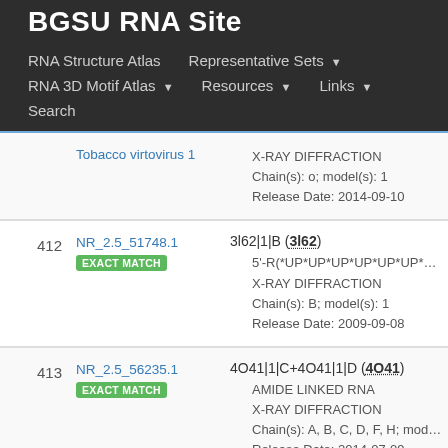BGSU RNA Site
RNA Structure Atlas | Representative Sets ▼ | RNA 3D Motif Atlas ▼ | Resources ▼ | Links ▼ | Search
| # | ID | Description |
| --- | --- | --- |
|  | Tobacco virtovirus 1 | X-RAY DIFFRACTION
Chain(s): o; model(s): 1
Release Date: 2014-09-10 |
| 412 | NR_2.5_51748.1
EXACT MATCH | 3l62|1|B (3l62)
5'-R(*UP*UP*UP*UP*UP*UP*UP*UP*UP*
X-RAY DIFFRACTION
Chain(s): B; model(s): 1
Release Date: 2009-09-08 |
| 413 | NR_2.5_56235.1
EXACT MATCH | 4O41|1|C+4O41|1|D (4O41)
AMIDE LINKED RNA
X-RAY DIFFRACTION
Chain(s): A, B, C, D, F, H; model(s): 1
Release Date: 2014-07-09 |